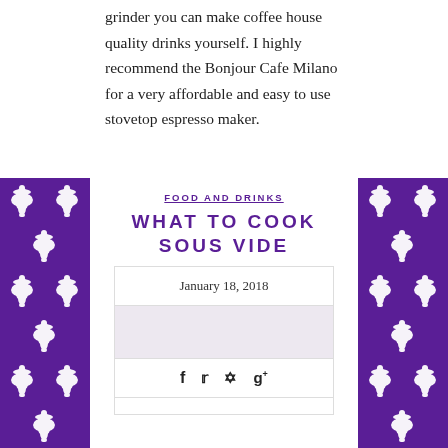grinder you can make coffee house quality drinks yourself. I highly recommend the Bonjour Cafe Milano for a very affordable and easy to use stovetop espresso maker.
[Figure (illustration): Purple fleur-de-lis decorative pattern panels on left and right sides of the lower portion of the page]
FOOD AND DRINKS
WHAT TO COOK SOUS VIDE
January 18, 2018
[Figure (photo): Thumbnail image placeholder in the article card]
Social share icons: Facebook, Twitter, Pinterest, Google+